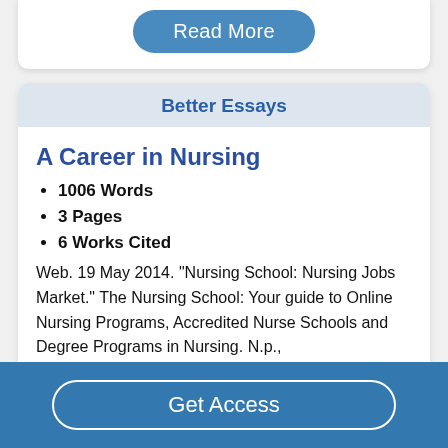Read More
Better Essays
A Career in Nursing
1006 Words
3 Pages
6 Works Cited
Web. 19 May 2014. "Nursing School: Nursing Jobs Market." The Nursing School: Your guide to Online Nursing Programs, Accredited Nurse Schools and Degree Programs in Nursing. N.p.,
Get Access